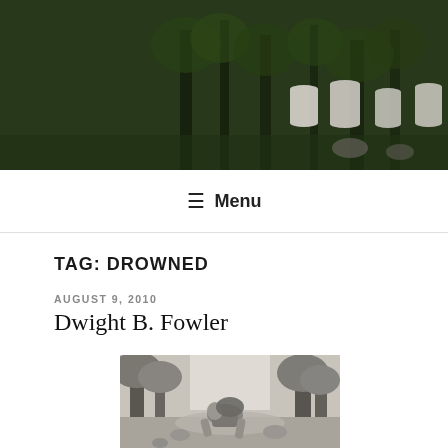[Figure (photo): Header banner showing a cemetery with gravestones among trees, with dark overlay. Site title 'SKAGWAY STORIES' and subtitle 'Stories and Folklore from Skagway, Alaska' overlaid on the left.]
≡ Menu
TAG: DROWNED
AUGUST 9, 2010
Dwight B. Fowler
[Figure (photo): Black and white photograph of a man bent over carrying a heavy load on his back in a forest trail, trees visible in background.]